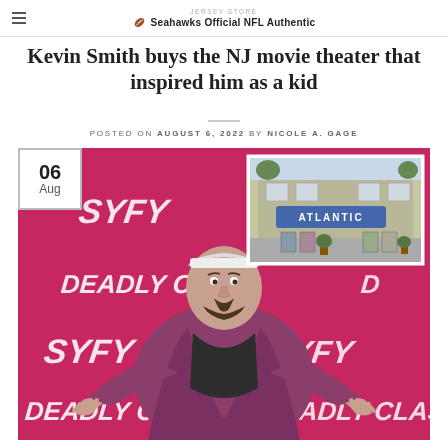JERSEY STORE — Seahawks Official NFL Authentic
Kevin Smith buys the NJ movie theater that inspired him as a kid
POSTED ON AUGUST 6, 2022 BY NICOLE A. GAGE
[Figure (photo): Kevin Smith in a purple blazer with hands gesturing outward at a SYFY Deadly Class event backdrop, with an inset photo of the Atlantic theater building exterior. A date badge reading '06 Aug' appears in the upper left corner.]